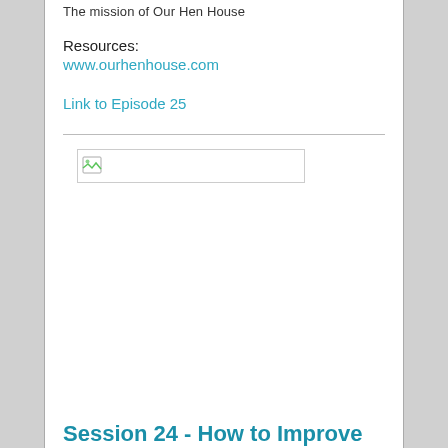The mission of Our Hen House
Resources:
www.ourhenhouse.com
Link to Episode 25
[Figure (other): Broken image placeholder with small icon in top-left corner]
Session 24 - How to Improve